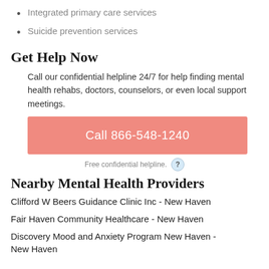Integrated primary care services
Suicide prevention services
Get Help Now
Call our confidential helpline 24/7 for help finding mental health rehabs, doctors, counselors, or even local support meetings.
Call 866-548-1240
Free confidential helpline.
Nearby Mental Health Providers
Clifford W Beers Guidance Clinic Inc - New Haven
Fair Haven Community Healthcare - New Haven
Discovery Mood and Anxiety Program New Haven - New Haven